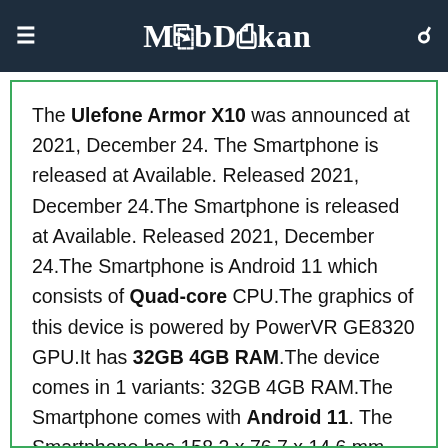MobDokan
The Ulefone Armor X10 was announced at 2021, December 24. The Smartphone is released at Available. Released 2021, December 24.The Smartphone is released at Available. Released 2021, December 24.The Smartphone is Android 11 which consists of Quad-core CPU.The graphics of this device is powered by PowerVR GE8320 GPU.It has 32GB 4GB RAM.The device comes in 1 variants: 32GB 4GB RAM.The Smartphone comes with Android 11. The Smartphone has 158.2 x 76.7 x 14.6 mm (6.23 x 3.02 x 0.57 in) thickness . It comes in 1 color variants, which are Black/Gray.The Smartphone is 2G Supported and has data speed of HSPA 21/5.76 Mbps, LTE Cat6 300/150 Mbps. It has Dual SIM (Nano SIM, dual stand